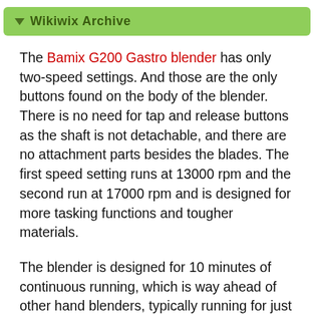▼ Wikiwix Archive
The Bamix G200 Gastro blender has only two-speed settings. And those are the only buttons found on the body of the blender. There is no need for tap and release buttons as the shaft is not detachable, and there are no attachment parts besides the blades. The first speed setting runs at 13000 rpm and the second run at 17000 rpm and is designed for more tasking functions and tougher materials.
The blender is designed for 10 minutes of continuous running, which is way ahead of other hand blenders, typically running for just a minute. You have to maintain hold of the button for it to continue running. The buttons are